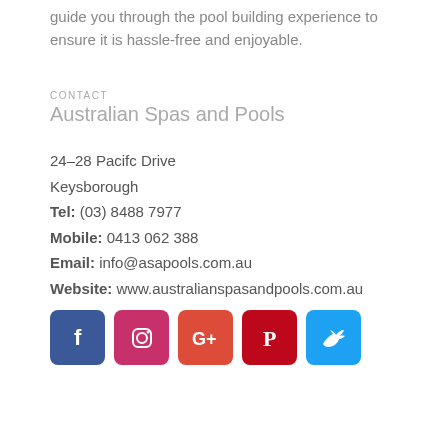guide you through the pool building experience to ensure it is hassle-free and enjoyable.
CONTACT
Australian Spas and Pools
24–28 Pacifc Drive
Keysborough
Tel: (03) 8488 7977
Mobile: 0413 062 388
Email: info@asapools.com.au
Website: www.australianspasandpools.com.au
[Figure (infographic): Row of five social media icon buttons: Facebook (blue), Instagram (pink/red), Google+ (orange-red), Pinterest (dark red), Twitter (light blue)]